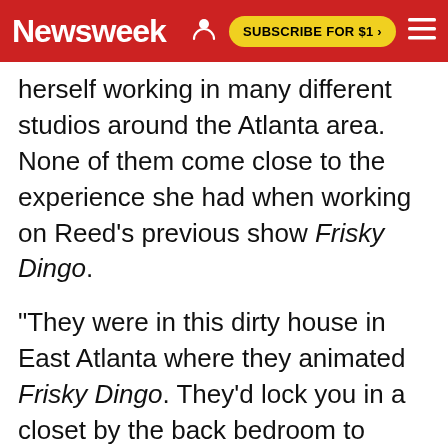Newsweek | SUBSCRIBE FOR $1 >
herself working in many different studios around the Atlanta area. None of them come close to the experience she had when working on Reed's previous show Frisky Dingo.
"They were in this dirty house in East Atlanta where they animated Frisky Dingo. They'd lock you in a closet by the back bedroom to record," said Nash. "It was a nightmare. There was no ventilation in there and you'd lock the door once inside and they'd lock the door on the other side too. What a fire hazard. That's how